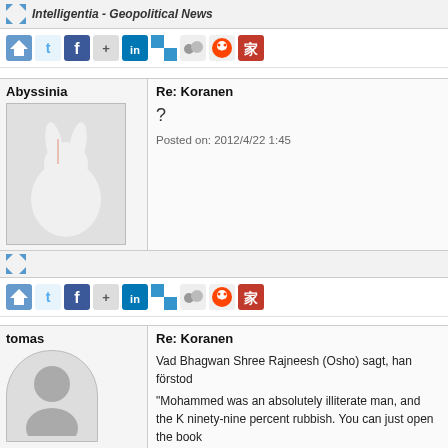Intelligentia - Geopolitical News
[Figure (screenshot): Row of social sharing icons: home/upvote, Twitter, Facebook, Google+, LinkedIn, Delicious, MySpace, Reddit, Chinese social icon]
Abyssinia
Re: Koranen
[Figure (photo): Avatar image of a white rabbit/bunny figurine on grey background]
?
Posted on: 2012/4/22 1:45
[Figure (screenshot): Expand/resize icon arrows]
[Figure (screenshot): Row of social sharing icons: home/upvote, Twitter, Facebook, Google+, LinkedIn, Delicious, MySpace, Reddit, Chinese social icon]
tomas
Re: Koranen
[Figure (illustration): Default grey avatar placeholder with circle head and rounded body]
Vad Bhagwan Shree Rajneesh (Osho) sagt, han förstod
"Mohammed was an absolutely illiterate man, and the K ninety-nine percent rubbish. You can just open the book